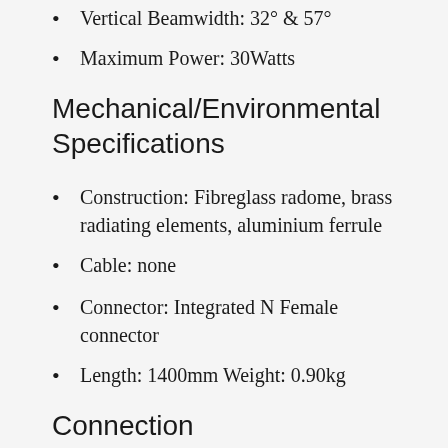Vertical Beamwidth: 32° & 57°
Maximum Power: 30Watts
Mechanical/Environmental Specifications
Construction: Fibreglass radome, brass radiating elements, aluminium ferrule
Cable: none
Connector: Integrated N Female connector
Length: 1400mm Weight: 0.90kg
Connection